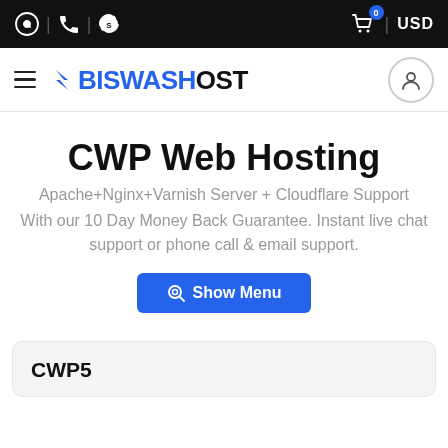BiswasHost navigation — icons: WhatsApp, phone, Skype | Cart 0 | USD
[Figure (logo): BiswasHost logo with hamburger menu, lightning-bolt arrow icon, and user account circle icon]
CWP Web Hosting
Apache+Nginx+Varnish Server + Cloudflare Support
With our 10 Day Money Back Guarantee. Instant live chat support or phone call & email support.
Show Menu
CWP5